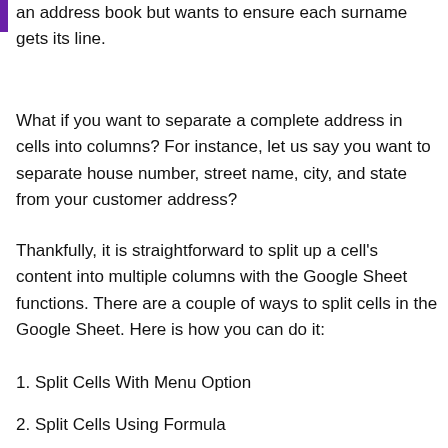an address book but wants to ensure each surname gets its line.
What if you want to separate a complete address in cells into columns? For instance, let us say you want to separate house number, street name, city, and state from your customer address?
Thankfully, it is straightforward to split up a cell’s content into multiple columns with the Google Sheet functions. There are a couple of ways to split cells in the Google Sheet. Here is how you can do it:
1. Split Cells With Menu Option
2. Split Cells Using Formula